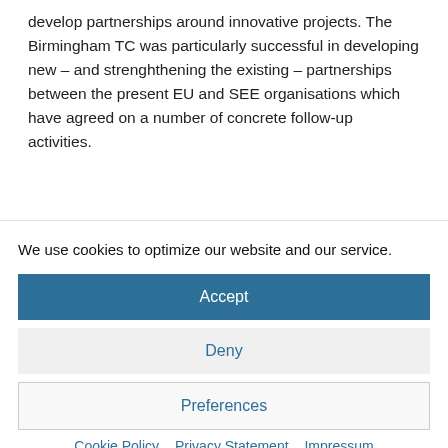develop partnerships around innovative projects. The Birmingham TC was particularly successful in developing new – and strenghthening the existing – partnerships between the present EU and SEE organisations which have agreed on a number of concrete follow-up activities.
We use cookies to optimize our website and our service.
Accept
Deny
Preferences
Cookie Policy  Privacy Statement  Impressum